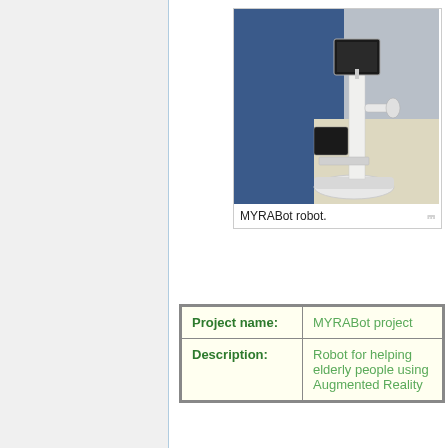[Figure (photo): Photo of MYRABot robot — a tall white robotic platform on a circular base with a screen at the top, a robotic arm on the side, and various components stacked vertically, photographed against a blue and beige background.]
MYRABot robot.
| Project name: | MYRABot project |
| Description: | Robot for helping elderly people using Augmented Reality |